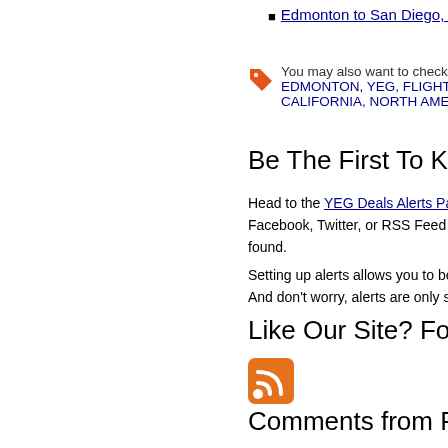Edmonton to San Diego, Califor…
You may also want to check out p…
EDMONTON, YEG, FLIGHT DEA… CALIFORNIA, NORTH AMERICA…
Be The First To Know Abo…
Head to the YEG Deals Alerts Page wh… Facebook, Twitter, or RSS Feed the m… found.
Setting up alerts allows you to be one o… And don't worry, alerts are only sent wh…
Like Our Site? Follow Us!
[Figure (illustration): RSS feed icon - orange square with white radio waves]
Comments from Facebo…
Comments from Everyon…
Become a trendsetter and be the first o…